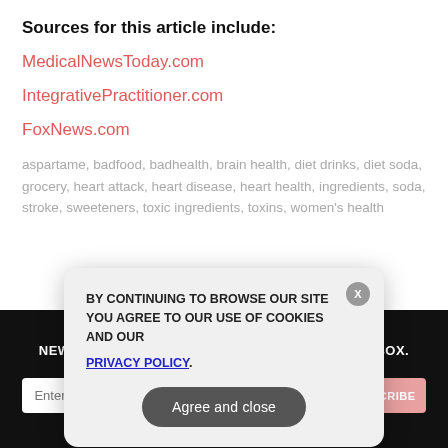Sources for this article include:
MedicalNewsToday.com
IntegrativePractitioner.com
FoxNews.com
aspartame, badfood, badhealth, brain health, diet drinks, diet soda, grocery, heart attack, heart disease, heart health, ingredients, soda, stroke, sweeteners, toxic ingredients, toxins, women's health
GET THE WORLD'S BEST INDEPENDENT MEDIA NEWSLETTER DELIVERED STRAIGHT TO YOUR INBOX.
Enter Your Email Address
SUBSCRIBE
BY CONTINUING TO BROWSE OUR SITE YOU AGREE TO OUR USE OF COOKIES AND OUR PRIVACY POLICY.
Agree and close